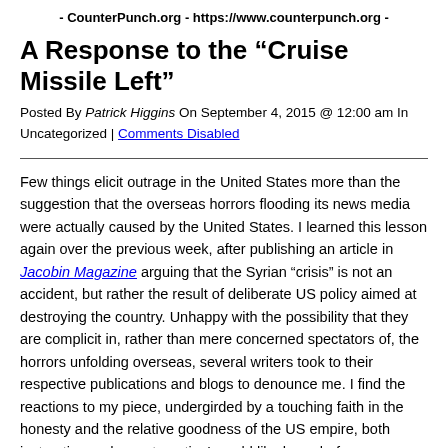- CounterPunch.org - https://www.counterpunch.org -
A Response to the “Cruise Missile Left”
Posted By Patrick Higgins On September 4, 2015 @ 12:00 am In Uncategorized | Comments Disabled
Few things elicit outrage in the United States more than the suggestion that the overseas horrors flooding its news media were actually caused by the United States. I learned this lesson again over the previous week, after publishing an article in Jacobin Magazine arguing that the Syrian “crisis” is not an accident, but rather the result of deliberate US policy aimed at destroying the country. Unhappy with the possibility that they are complicit in, rather than mere concerned spectators of, the horrors unfolding overseas, several writers took to their respective publications and blogs to denounce me. I find the reactions to my piece, undergirded by a touching faith in the honesty and the relative goodness of the US empire, both instructive and symptomatic. I would like here, before a